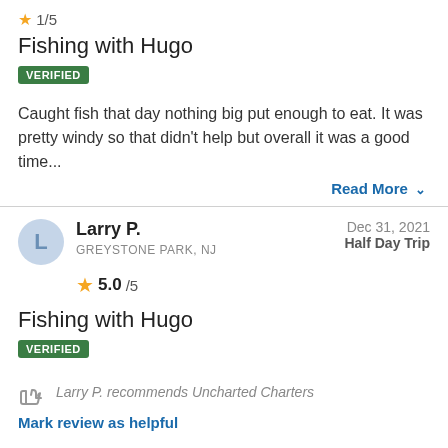★ 1/5
Fishing with Hugo
VERIFIED
Caught fish that day nothing big put enough to eat. It was pretty windy so that didn't help but overall it was a good time...
Read More ∨
Larry P.
GREYSTONE PARK, NJ
Dec 31, 2021
Half Day Trip
★ 5.0/5
Fishing with Hugo
VERIFIED
Larry P. recommends Uncharted Charters
Mark review as helpful